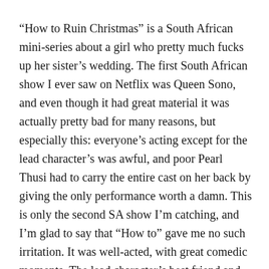“How to Ruin Christmas” is a South African mini-series about a girl who pretty much fucks up her sister’s wedding. The first South African show I ever saw on Netflix was Queen Sono, and even though it had great material it was actually pretty bad for many reasons, but especially this: everyone’s acting except for the lead character’s was awful, and poor Pearl Thusi had to carry the entire cast on her back by giving the only performance worth a damn. This is only the second SA show I’m catching, and I’m glad to say that “How to” gave me no such irritation. It was well-acted, with great comedic moments. The lead character’s best friend and love interest was a solid sub-plot, and I love how they wove English and the native languages into the dialogue. Great stuff all around.
I love conversations on craft, so I really enjoyed that